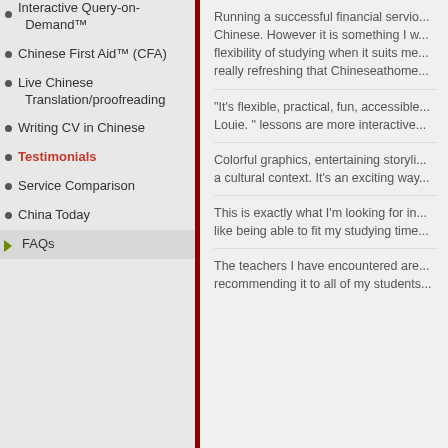Interactive Query-on-Demand™
Chinese First Aid™ (CFA)
Live Chinese Translation/proofreading
Writing CV in Chinese
Testimonials
Service Comparison
China Today
FAQs
Running a successful financial servio... Chinese. However it is something I w... flexibility of studying when it suits me... really refreshing that Chineseathome...
"It's flexible, practical, fun, accessible... Louie. " lessons are more interactive...
Colorful graphics, entertaining storyli... a cultural context. It's an exciting way...
This is exactly what I'm looking for in... like being able to fit my studying time...
The teachers I have encountered are... recommending it to all of my students...